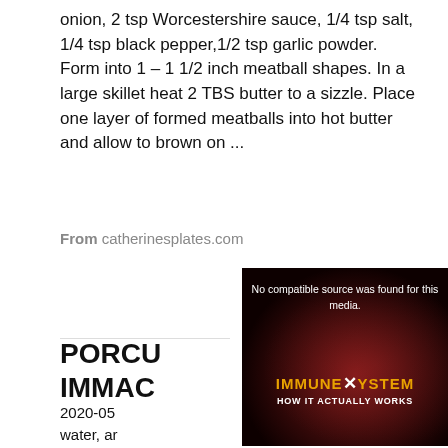onion, 2 tsp Worcestershire sauce, 1/4 tsp salt, 1/4 tsp black pepper,1/2 tsp garlic powder. Form into 1 – 1 1/2 inch meatball shapes. In a large skillet heat 2 TBS butter to a sizzle. Place one layer of formed meatballs into hot butter and allow to brown on ...
From catherinesplates.com
[Figure (screenshot): Blue 'See c...' button partially visible, overlaid by a video player popup showing 'No compatible source was found for this media.' with 'IMMUNE X SYSTEM HOW IT ACTUALLY WORKS' text on dark red background. A close (x) button in top-left corner of popup. 'Powered By VDO.AI' text in top-right.]
PORCU... IMMAC...
2020-05... water, ar... minute t... sauce. S... the mea... the rice is tender, about 45 – 55 minutes. Stir as